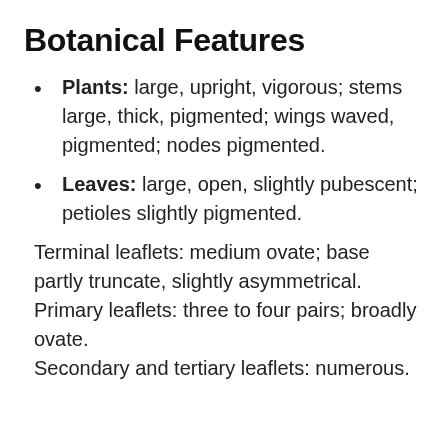Botanical Features
Plants: large, upright, vigorous; stems large, thick, pigmented; wings waved, pigmented; nodes pigmented.
Leaves: large, open, slightly pubescent; petioles slightly pigmented.
Terminal leaflets: medium ovate; base partly truncate, slightly asymmetrical.
Primary leaflets: three to four pairs; broadly ovate.
Secondary and tertiary leaflets: numerous.